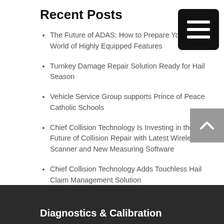Recent Posts
The Future of ADAS: How to Prepare Your Shop a World of Highly Equipped Features
Turnkey Damage Repair Solution Ready for Hail Season
Vehicle Service Group supports Prince of Peace Catholic Schools
Chief Collision Technology Is Investing in the Future of Collision Repair with Latest Wireless Scanner and New Measuring Software
Chief Collision Technology Adds Touchless Hail Claim Management Solution
Diagnostics & Calibration